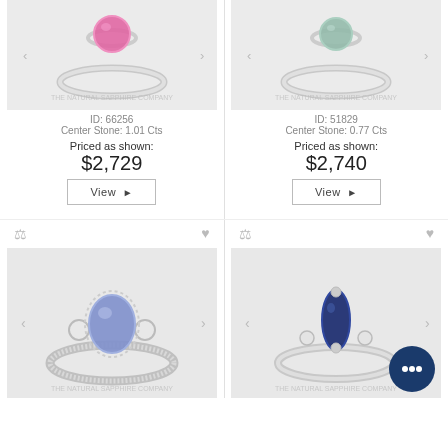[Figure (photo): Pink sapphire solitaire ring on white background, The Natural Sapphire Company watermark]
ID: 66256
Center Stone: 1.01 Cts
Priced as shown:
$2,729
[Figure (photo): Green/grey sapphire solitaire ring on white background, The Natural Sapphire Company watermark]
ID: 51829
Center Stone: 0.77 Cts
Priced as shown:
$2,740
[Figure (photo): Lavender blue oval sapphire in diamond halo ring setting, The Natural Sapphire Company watermark]
[Figure (photo): Dark blue marquise sapphire solitaire ring with chat bubble overlay, The Natural Sapphire Company watermark]